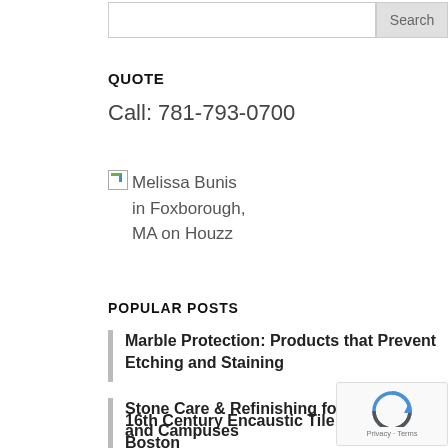Search
QUOTE
Call: 781-793-0700
[Figure (logo): Melissa Bunis in Foxborough, MA on Houzz badge with broken image icon]
POPULAR POSTS
Marble Protection: Products that Prevent Etching and Staining
Stone Care & Refinishing for Schools and Campuses
16th Century Encaustic Tile Restored in Boston
See How Thin This Stone Coating Is!